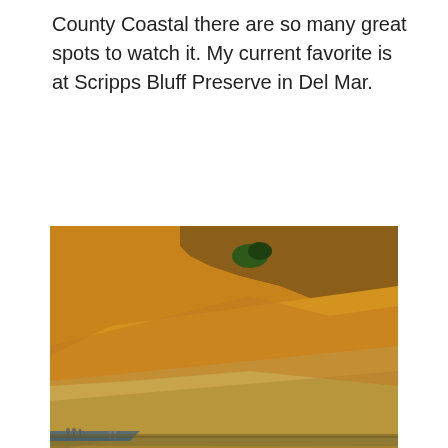County Coastal there are so many great spots to watch it. My current favorite is at Scripps Bluff Preserve in Del Mar.
[Figure (photo): Photograph of Scripps Bluff Preserve in Del Mar showing tall golden-orange sandstone cliffs against a clear blue sky, with the wet sandy beach below reflecting the cliffs, and a few small people visible near the base of the cliffs on the left side.]